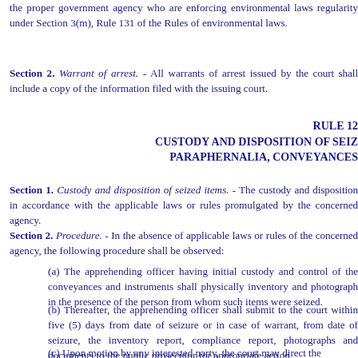the proper government agency who are enforcing environmental laws regularity under Section 3(m), Rule 131 of the Rules of Court on environmental laws.
Section 2. Warrant of arrest. - All warrants of arrest issued by the court shall include a copy of the information filed with the issuing court.
RULE 12
CUSTODY AND DISPOSITION OF SEIZED ITEMS,
PARAPHERNALIA, CONVEYANCES
Section 1. Custody and disposition of seized items. - The custody and disposition in accordance with the applicable laws or rules promulgated by the concerned agency.
Section 2. Procedure. - In the absence of applicable laws or rules of the concerned agency, the following procedure shall be observed:
(a) The apprehending officer having initial custody and control of the conveyances and instruments shall physically inventory and photograph in the presence of the person from whom such items were seized.
(b) Thereafter, the apprehending officer shall submit to the court within five (5) days from date of seizure or in case of warrant, from date of seizure, the inventory report, compliance report, photographs and documents to the public prosecutor for appropriate action.
(c) Upon motion by any interested party, the court may direct the paraphernalia, tools or instruments of the crime. The court shall act based on the recommendation of the concerned government agency.